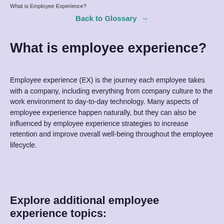What is Employee Experience?
Back to Glossary →
What is employee experience?
Employee experience (EX) is the journey each employee takes with a company, including everything from company culture to the work environment to day-to-day technology. Many aspects of employee experience happen naturally, but they can also be influenced by employee experience strategies to increase retention and improve overall well-being throughout the employee lifecycle.
Explore additional employee experience topics: